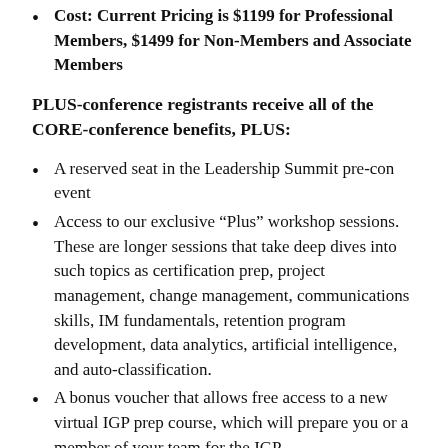Cost: Current Pricing is $1199 for Professional Members, $1499 for Non-Members and Associate Members
PLUS-conference registrants receive all of the CORE-conference benefits, PLUS:
A reserved seat in the Leadership Summit pre-con event
Access to our exclusive “Plus” workshop sessions. These are longer sessions that take deep dives into such topics as certification prep, project management, change management, communications skills, IM fundamentals, retention program development, data analytics, artificial intelligence, and auto-classification.
A bonus voucher that allows free access to a new virtual IGP prep course, which will prepare you or a member of your team for the IGP certification.